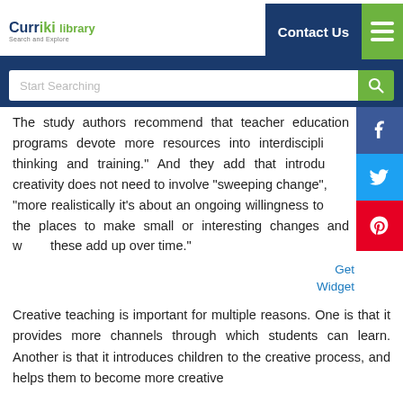Curriki Library - Start Searching
The study authors recommend that teacher education programs devote more resources into interdisciplinary thinking and training.” And they add that introducing creativity does not need to involve “sweeping change”, but “more realistically it’s about an ongoing willingness to find the places to make small or interesting changes and watch these add up over time.”
Creative teaching is important for multiple reasons. One is that it provides more channels through which students can learn. Another is that it introduces children to the creative process, and helps them to become more creative